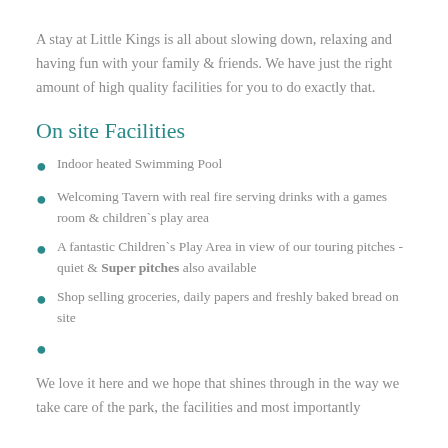A stay at Little Kings is all about slowing down, relaxing and having fun with your family & friends. We have just the right amount of high quality facilities for you to do exactly that.
On site Facilities
Indoor heated Swimming Pool
Welcoming Tavern with real fire serving drinks with a games room & children`s play area
A fantastic Children`s Play Area in view of our touring pitches - quiet & Super pitches also available
Shop selling groceries, daily papers and freshly baked bread on site
We love it here and we hope that shines through in the way we take care of the park, the facilities and most importantly